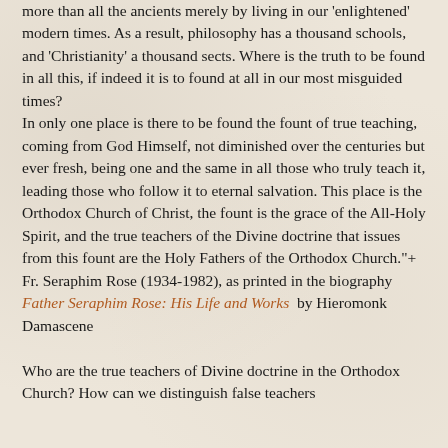more than all the ancients merely by living in our 'enlightened' modern times. As a result, philosophy has a thousand schools, and 'Christianity' a thousand sects. Where is the truth to be found in all this, if indeed it is to found at all in our most misguided times? In only one place is there to be found the fount of true teaching, coming from God Himself, not diminished over the centuries but ever fresh, being one and the same in all those who truly teach it, leading those who follow it to eternal salvation. This place is the Orthodox Church of Christ, the fount is the grace of the All-Holy Spirit, and the true teachers of the Divine doctrine that issues from this fount are the Holy Fathers of the Orthodox Church."+ Fr. Seraphim Rose (1934-1982), as printed in the biography Father Seraphim Rose: His Life and Works by Hieromonk Damascene

Who are the true teachers of Divine doctrine in the Orthodox Church? How can we distinguish false teachers